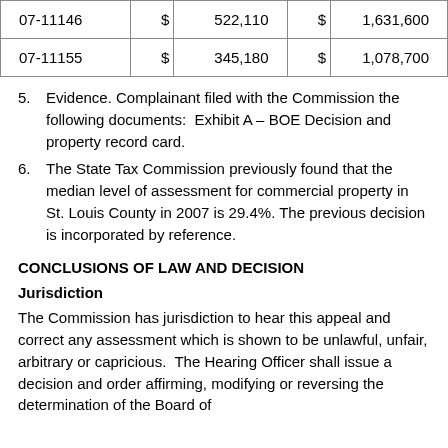| Case | $ | Amount1 | $ | Amount2 |
| --- | --- | --- | --- | --- |
| 07-11146 | $ | 522,110 | $ | 1,631,600 |
| 07-11155 | $ | 345,180 | $ | 1,078,700 |
5. Evidence. Complainant filed with the Commission the following documents:  Exhibit A – BOE Decision and property record card.
6. The State Tax Commission previously found that the median level of assessment for commercial property in St. Louis County in 2007 is 29.4%. The previous decision is incorporated by reference.
CONCLUSIONS OF LAW AND DECISION
Jurisdiction
The Commission has jurisdiction to hear this appeal and correct any assessment which is shown to be unlawful, unfair, arbitrary or capricious.  The Hearing Officer shall issue a decision and order affirming, modifying or reversing the determination of the Board of